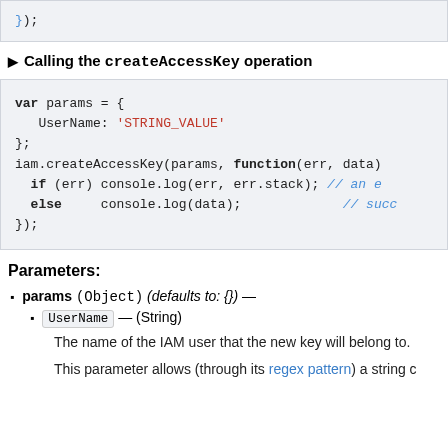[Figure (screenshot): Code block showing closing });]
▶ Calling the createAccessKey operation
[Figure (screenshot): Code block: var params = { UserName: 'STRING_VALUE' }; iam.createAccessKey(params, function(err, data) { if (err) console.log(err, err.stack); // an e else console.log(data); // succ });]
Parameters:
params (Object) (defaults to: {}) —
UserName — (String)
The name of the IAM user that the new key will belong to.
This parameter allows (through its regex pattern) a string c